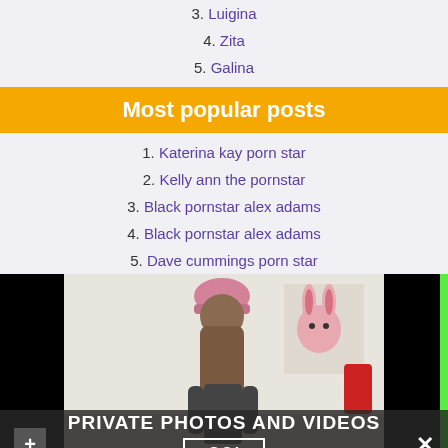3. Luigina
4. Zita
5. Galina
Most popular posts
1. Katerina kay porn star
2. Kelly ann the pornstar
3. Black pornstar alex adams
4. Black pornstar alex adams
5. Dave cummings porn star
[Figure (photo): A woman wearing a pink beanie with long brown hair viewed from behind, in a room with another person in a bunny costume. An overlay shows 'PRIVATE PHOTOS AND VIDEOS' with a GO! button.]